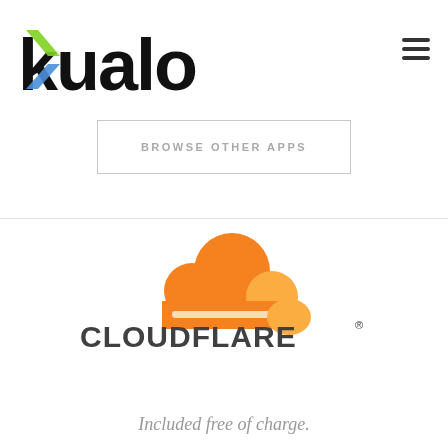[Figure (logo): Kualo logo in black with colorful K icon (green and blue), large bold text]
[Figure (other): Hamburger menu icon (three horizontal lines) in top right corner]
[Figure (other): Button with text BROWSE OTHER APPS in a light grey outlined rectangle]
[Figure (logo): Cloudflare logo with orange cloud icon above the CLOUDFLARE wordmark in dark grey, with registered trademark symbol]
Included free of charge.